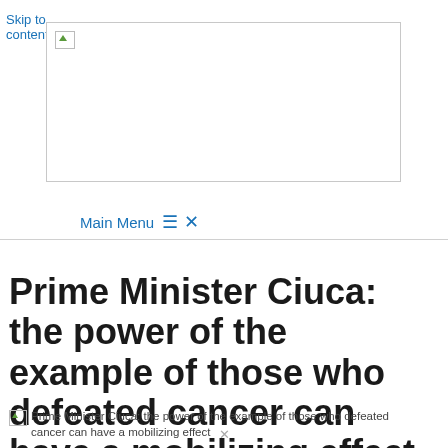Skip to content
[Figure (logo): Website logo image (broken/placeholder)]
Main Menu ☰ ✕
Prime Minister Ciuca: the power of the example of those who defeated cancer can have a mobilizing effect
Prime Minister Ciuca: the power of the example of those who defeated cancer can have a mobilizing effect